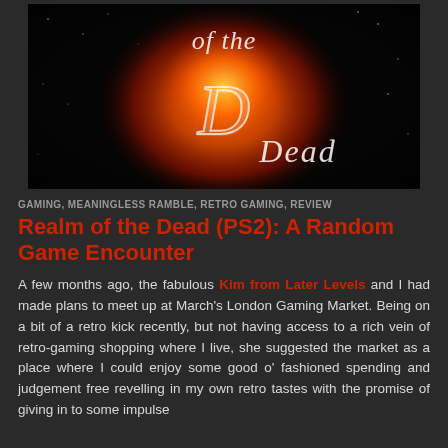[Figure (illustration): Dark stylized game title logo with white cursive text reading 'of the Dead' on a fiery orange and black background]
GAMING, MEANINGLESS RAMBLE, RETRO GAMING, REVIEW
Realm of the Dead (PS2): A Random Game Encounter
A few months ago, the fabulous Kim from Later Levels and I had made plans to meet up at March's London Gaming Market. Being on a bit of a retro kick recently, but not having access to a rich vein of retro-gaming shopping where I live, she suggested the market as a place where I could enjoy some good o' fashioned spending and judgement free revelling in my own retro tastes with the promise of giving in to some impulse